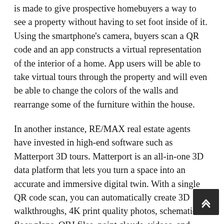is made to give prospective homebuyers a way to see a property without having to set foot inside of it. Using the smartphone's camera, buyers scan a QR code and an app constructs a virtual representation of the interior of a home. App users will be able to take virtual tours through the property and will even be able to change the colors of the walls and rearrange some of the furniture within the house.
In another instance, RE/MAX real estate agents have invested in high-end software such as Matterport 3D tours. Matterport is an all-in-one 3D data platform that lets you turn a space into an accurate and immersive digital twin. With a single QR code scan, you can automatically create 3D walkthroughs, 4K print quality photos, schematic floor plans, OBJ files, point clouds, videos, and other media.
RE/MAX used Matterport 3D tours in their property